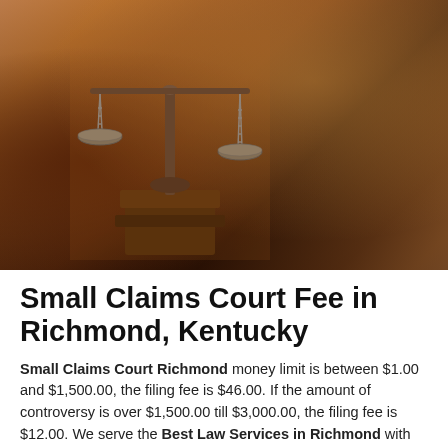[Figure (photo): Photograph of scales of justice on a wooden pedestal in a courtroom with blurred wooden benches and chairs in the background, warm amber tones]
Small Claims Court Fee in Richmond, Kentucky
Small Claims Court Richmond money limit is between $1.00 and $1,500.00, the filing fee is $46.00. If the amount of controversy is over $1,500.00 till $3,000.00, the filing fee is $12.00. We serve the Best Law Services in Richmond with reasonable small claim fees. By relying on us, you do not have to spend lavishly on a